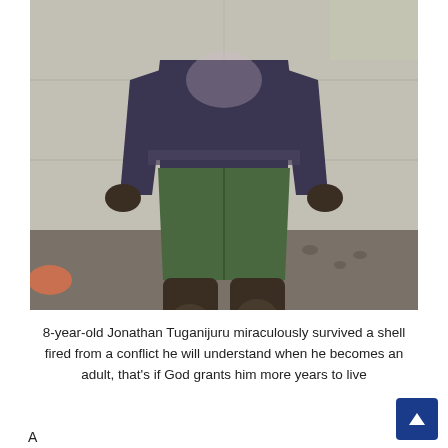[Figure (photo): A child standing against a concrete wall, wearing a dark long-sleeve shirt with embroidered design, green shorts, and one sandal. The child's legs and feet are visible, standing on dusty/gravelly ground.]
8-year-old Jonathan Tuganijuru miraculously survived a shell fired from a conflict he will understand when he becomes an adult, that's if God grants him more years to live
A partial line of text cut off at the bottom of the page